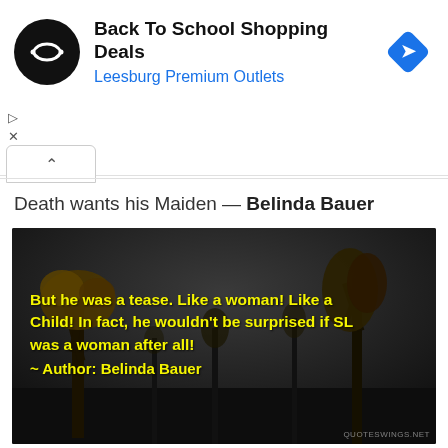[Figure (screenshot): Advertisement banner for 'Back To School Shopping Deals' at Leesburg Premium Outlets with a circular black logo and blue diamond navigation icon]
Death wants his Maiden — Belinda Bauer
[Figure (photo): Dark nighttime scene with silhouetted trees against a grey sky. Yellow bold text overlay reads: 'But he was a tease. Like a woman! Like a Child! In fact, he wouldn't be surprised if SL was a woman after all! ~ Author: Belinda Bauer'. Watermark bottom right: QUOTESWINGS.NET]